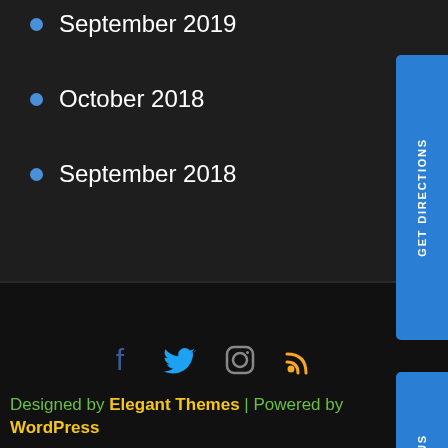September 2019
October 2018
September 2018
Designed by Elegant Themes | Powered by WordPress